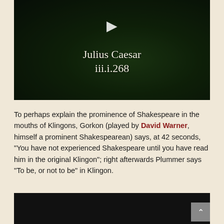[Figure (screenshot): Video thumbnail showing a dark green-lit scene with a play button and text overlay reading 'Julius Caesar iii.i.268']
To perhaps explain the prominence of Shakespeare in the mouths of Klingons, Gorkon (played by David Warner, himself a prominent Shakespearean) says, at 42 seconds, “You have not experienced Shakespeare until you have read him in the original Klingon”; right afterwards Plummer says “To be, or not to be” in Klingon.
[Figure (screenshot): Bottom portion of a dark video thumbnail, partially visible]